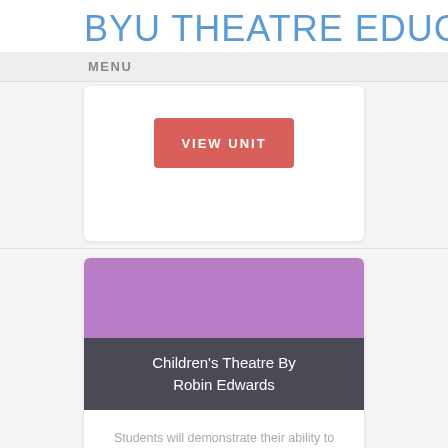BYU THEATRE EDUCATION
MENU
[Figure (screenshot): Red VIEW UNIT button from first card]
[Figure (illustration): Purple rectangular image area for Children's Theatre card]
Children's Theatre By Robin Edwards
Students will demonstrate their ability to work cohesively by creating and performing a Children's Theatre piece.
[Figure (screenshot): Purple VIEW UNIT button at bottom]